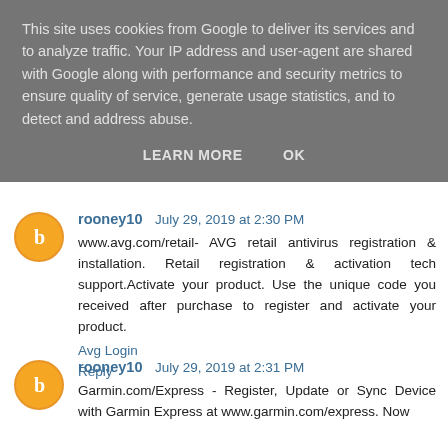This site uses cookies from Google to deliver its services and to analyze traffic. Your IP address and user-agent are shared with Google along with performance and security metrics to ensure quality of service, generate usage statistics, and to detect and address abuse.
LEARN MORE   OK
rooney10  July 29, 2019 at 2:30 PM
www.avg.com/retail- AVG retail antivirus registration & installation. Retail registration & activation tech support.Activate your product. Use the unique code you received after purchase to register and activate your product.
Avg Login
Reply
rooney10  July 29, 2019 at 2:31 PM
Garmin.com/Express - Register, Update or Sync Device with Garmin Express at www.garmin.com/express. Now